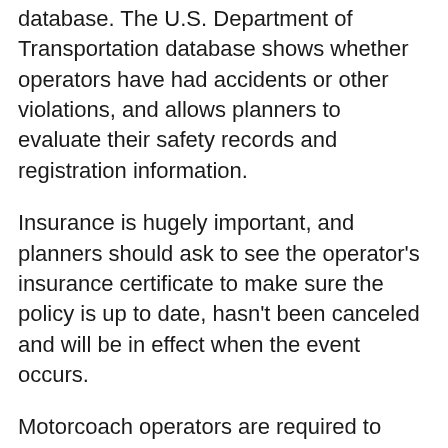database. The U.S. Department of Transportation database shows whether operators have had accidents or other violations, and allows planners to evaluate their safety records and registration information.
Insurance is hugely important, and planners should ask to see the operator's insurance certificate to make sure the policy is up to date, hasn't been canceled and will be in effect when the event occurs.
Motorcoach operators are required to carry a minimum of $5 million in insurance, "but if you have a company that has $10 million or $15 million, you know they're the real deal; you know they're serious," said Carol Mondello, general manager for Massachusetts-based Ground Charters, a transportation broker that's been doing business in the U.S. and Canada for 10 years.
Planners should also add their client as an additional insured on the motorcoach operator's insurance so that...